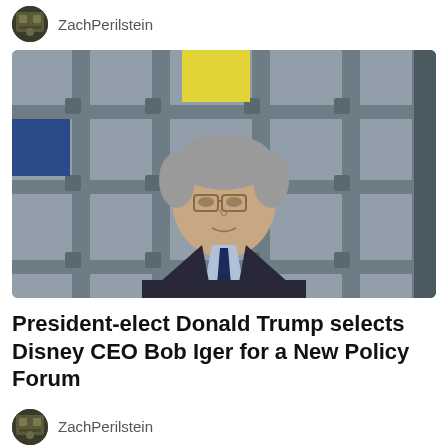ZachPerilstein
[Figure (photo): A middle-aged man in a dark suit and navy tie, with grey hair and glasses, standing in front of a grey paneled background with a yellow poster visible behind him. This is Bob Iger, Disney CEO.]
President-elect Donald Trump selects Disney CEO Bob Iger for a New Policy Forum
ZachPerilstein